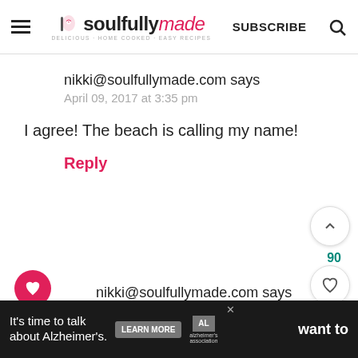soulfully made — SUBSCRIBE
nikki@soulfullymade.com says
April 09, 2017 at 3:35 pm
I agree! The beach is calling my name!
Reply
76
nikki@soulfullymade.com says
April 11, 2017 at 4:31 pm
90
It's time to talk about Alzheimer's. LEARN MORE